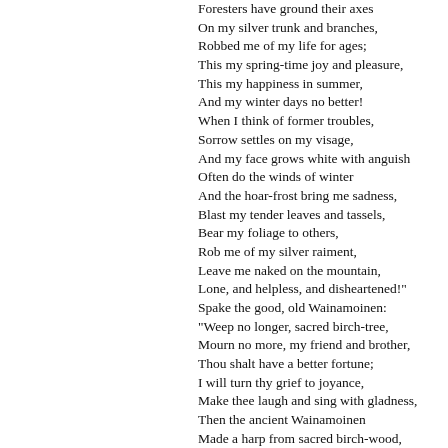Foresters have ground their axes
On my silver trunk and branches,
Robbed me of my life for ages;
This my spring-time joy and pleasure,
This my happiness in summer,
And my winter days no better!
When I think of former troubles,
Sorrow settles on my visage,
And my face grows white with anguish
Often do the winds of winter
And the hoar-frost bring me sadness,
Blast my tender leaves and tassels,
Bear my foliage to others,
Rob me of my silver raiment,
Leave me naked on the mountain,
Lone, and helpless, and disheartened!"
Spake the good, old Wainamoinen:
"Weep no longer, sacred birch-tree,
Mourn no more, my friend and brother,
Thou shalt have a better fortune;
I will turn thy grief to joyance,
Make thee laugh and sing with gladness,
Then the ancient Wainamoinen
Made a harp from sacred birch-wood,
Fashioned in the days of summer,
Beautiful the harp of fortune,